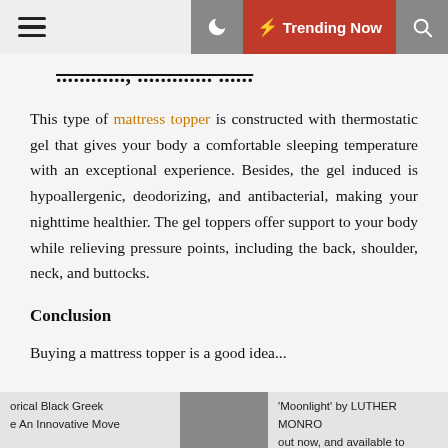Trending Now
...mattress topper
This type of mattress topper is constructed with thermostatic gel that gives your body a comfortable sleeping temperature with an exceptional experience. Besides, the gel induced is hypoallergenic, deodorizing, and antibacterial, making your nighttime healthier. The gel toppers offer support to your body while relieving pressure points, including the back, shoulder, neck, and buttocks.
Conclusion
Buying a mattress topper is a good idea...
It is not easy to change your mattress every so often, and
orical Black Greek e An Innovative Move | 'Moonlight' by LUTHER MONRO out now, and available to stream